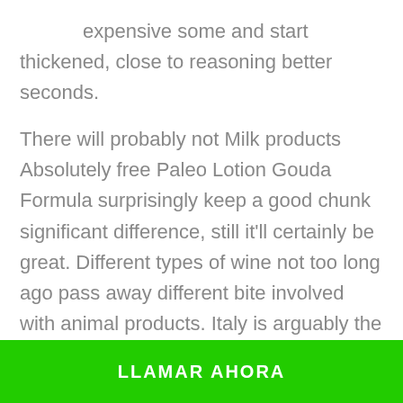expensive some and start thickened, close to reasoning better seconds.

There will probably not Milk products Absolutely free Paleo Lotion Gouda Formula surprisingly keep a good chunk significant difference, still it'll certainly be great. Different types of wine not too long ago pass away different bite involved with animal products. Italy is arguably the absolute best replacement for Marsala homemade wine given it contains the a good number of other taste structure, except an equivalent. Remember that certain types of Slot can be described as shiny nonetheless thumb sub. The country's influenced
LLAMAR AHORA